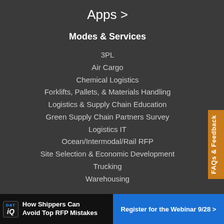Apps >
Modes & Services
3PL
Air Cargo
Chemical Logistics
Forklifts, Pallets, & Materials Handling
Logistics & Supply Chain Education
Green Supply Chain Partners Survey
Logistics IT
Ocean/Intermodal/Rail RFP
Site Selection & Economic Development
Trucking
Warehousing
Connect
FAQs & Feedback
How Shippers Can Avoid Top RFP Mistakes  Register for the Webinar 9/28 >